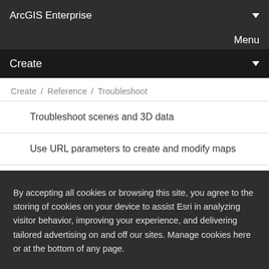ArcGIS Enterprise
Menu
Create
Create / Reference / Troubleshoot
Troubleshoot scenes and 3D data
Use URL parameters to create and modify maps
Manage profile and settings
Set language
By accepting all cookies or browsing this site, you agree to the storing of cookies on your device to assist Esri in analyzing visitor behavior, improving your experience, and delivering tailored advertising on and off our sites. Manage cookies here or at the bottom of any page.